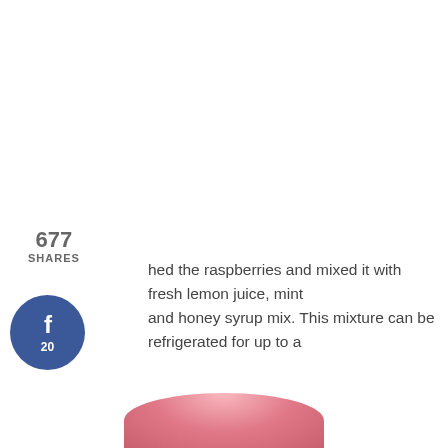677
SHARES
hed the raspberries and mixed it with fresh lemon juice, mint and honey syrup mix. This mixture can be refrigerated for up to a
[Figure (infographic): Facebook share button circle (blue) with 'f' icon and count 20]
[Figure (infographic): Twitter share button circle (light blue) with bird icon]
[Figure (infographic): Pinterest share button circle (red) with 'P' icon and count 644]
[Figure (infographic): Yummly share button circle (orange) with 'yum' text]
[Figure (photo): Light gray placeholder image area, with pink/red food photo partially visible at bottom of page]